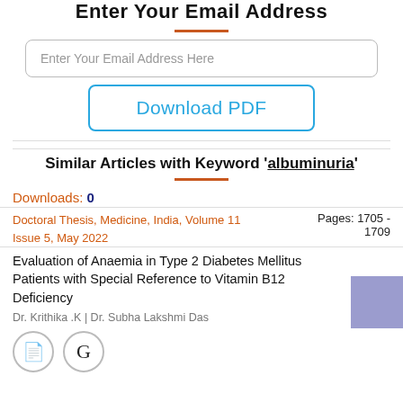Enter Your Email Address
[Figure (screenshot): Email input field with placeholder text 'Enter Your Email Address Here']
[Figure (screenshot): Download PDF button with blue border and text]
Similar Articles with Keyword 'albuminuria'
Downloads: 0
Doctoral Thesis, Medicine, India, Volume 11 Issue 5, May 2022	Pages: 1705 - 1709
Evaluation of Anaemia in Type 2 Diabetes Mellitus Patients with Special Reference to Vitamin B12 Deficiency
Dr. Krithika .K | Dr. Subha Lakshmi Das
[Figure (screenshot): Two circular icon buttons: document icon and G icon]